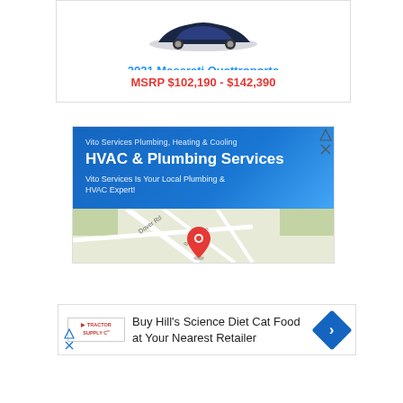2021 Maserati Quattroporte
MSRP $102,190 - $142,390
[Figure (screenshot): Advertisement for Vito Services Plumbing, Heating & Cooling showing HVAC & Plumbing Services with a Google Map thumbnail]
[Figure (screenshot): Advertisement for Tractor Supply Co promoting Buy Hill's Science Diet Cat Food at Your Nearest Retailer with a navigation arrow icon]